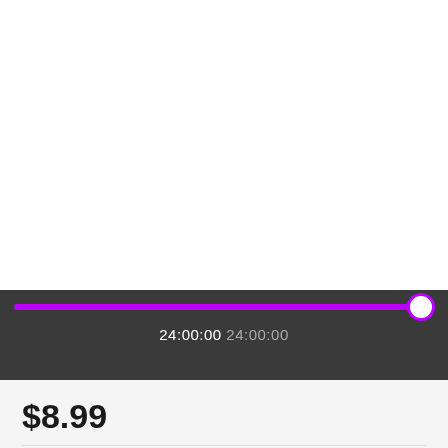[Figure (screenshot): A media player progress bar UI element on a dark background showing a purple filled progress bar nearly complete with a white circle thumb at the right end, and time display showing 24:00:00 / 24:00:00]
$8.99
✓ 1 page(s)
✓ Print or save as PDF